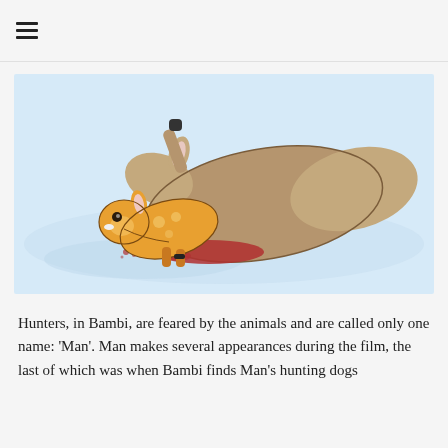≡
[Figure (illustration): Animated still from Disney's Bambi showing young Bambi lying next to his mother who has been shot, with a red blood pool visible on the snow-white ground.]
Hunters, in Bambi, are feared by the animals and are called only one name: 'Man'. Man makes several appearances during the film, the last of which was when Bambi finds Man's hunting dogs